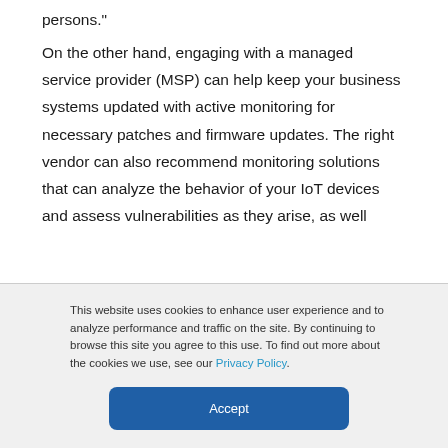persons."

On the other hand, engaging with a managed service provider (MSP) can help keep your business systems updated with active monitoring for necessary patches and firmware updates. The right vendor can also recommend monitoring solutions that can analyze the behavior of your IoT devices and assess vulnerabilities as they arise, as well
This website uses cookies to enhance user experience and to analyze performance and traffic on the site. By continuing to browse this site you agree to this use. To find out more about the cookies we use, see our Privacy Policy.